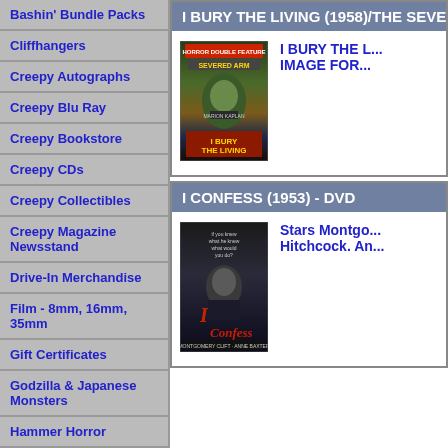Bashin' Bundle Packs
Cliffhangers
Creepy Autographs
Creepy Blu Ray
Creepy Bookstore
Creepy CDs
Creepy Collectibles
Creepy Magazine Newsstand
Drive-In Merchandise
Film - 8mm, 16mm, 35mm
Gift Certificates
Godzilla & Japanese Monsters
Hammer Horror
I BURY THE LIVING (1958)/THE SEVE...
[Figure (photo): DVD cover for I Bury the Living / The Severed Arm horror double feature]
I BURY THE L... IMAGE FOR...
I CONFESS (1953) - DVD
[Figure (photo): DVD cover for I Confess (1953) directed by Hitchcock, starring Montgomery Clift and Anne Baxter]
Stars Montgo... Hitchcock. An...